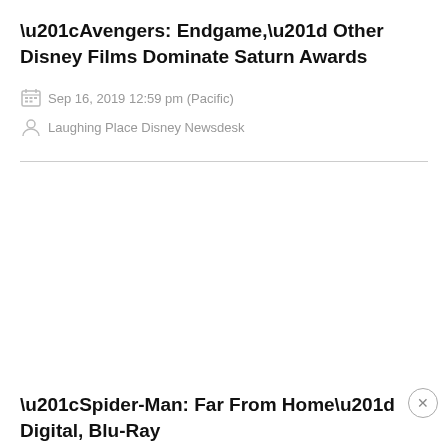“Avengers: Endgame,” Other Disney Films Dominate Saturn Awards
Sep 16, 2019 12:59 pm (Pacific)
Laughing Place Disney Newsdesk
“Spider-Man: Far From Home” Digital, Blu-Ray and DVD Releases Announced
Sep 9, 2019 1:47 pm (Pacific)